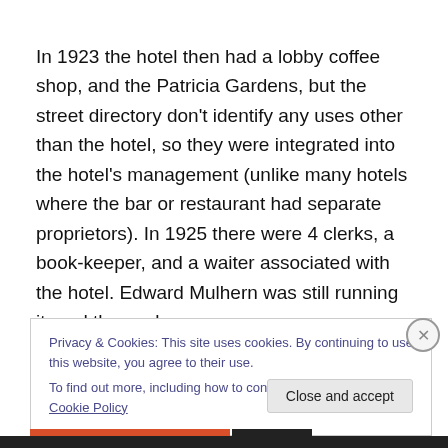In 1923 the hotel then had a lobby coffee shop, and the Patricia Gardens, but the street directory don't identify any uses other than the hotel, so they were integrated into the hotel's management (unlike many hotels where the bar or restaurant had separate proprietors). In 1925 there were 4 clerks, a book-keeper, and a waiter associated with the hotel. Edward Mulhern was still running it, and the cook
Privacy & Cookies: This site uses cookies. By continuing to use this website, you agree to their use.
To find out more, including how to control cookies, see here: Cookie Policy
Close and accept